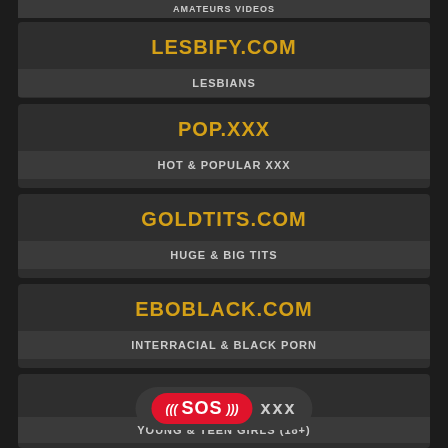AMATEURS VIDEOS
LESBIFY.COM — LESBIANS
POP.XXX — HOT & POPULAR XXX
GOLDTITS.COM — HUGE & BIG TITS
EBOBLACK.COM — INTERRACIAL & BLACK PORN
TEENXY.COM — YOUNG & TEEN GIRLS (18+)
[Figure (infographic): SOS XXX banner with red pill button and grey rounded rectangle background]